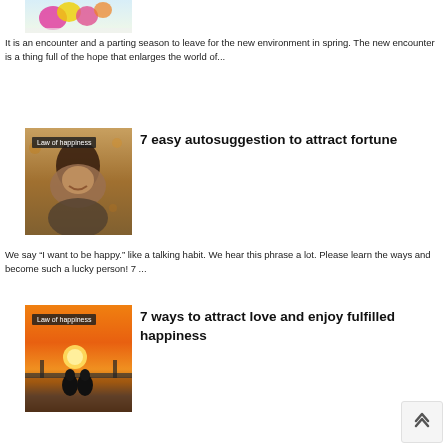[Figure (photo): Flowers image partially visible at top of page]
It is an encounter and a parting season to leave for the new environment in spring. The new encounter is a thing full of the hope that enlarges the world of...
[Figure (photo): Happy woman smiling outdoors with autumn background, badge reading 'Law of happiness']
7 easy autosuggestion to attract fortune
We say “I want to be happy.” like a talking habit. We hear this phrase a lot. Please learn the ways and become such a lucky person! 7 ...
[Figure (photo): Couple sitting at sunset near water and bridge, badge reading 'Law of happiness']
7 ways to attract love and enjoy fulfilled happiness